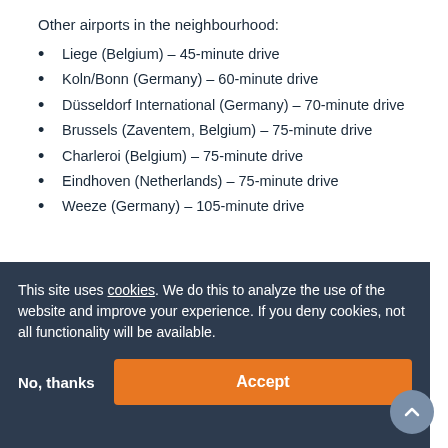Other airports in the neighbourhood:
Liege (Belgium) – 45-minute drive
Koln/Bonn (Germany) – 60-minute drive
Düsseldorf International (Germany) – 70-minute drive
Brussels (Zaventem, Belgium) – 75-minute drive
Charleroi (Belgium) – 75-minute drive
Eindhoven (Netherlands) – 75-minute drive
Weeze (Germany) – 105-minute drive
This site uses cookies. We do this to analyze the use of the website and improve your experience. If you deny cookies, not all functionality will be available.